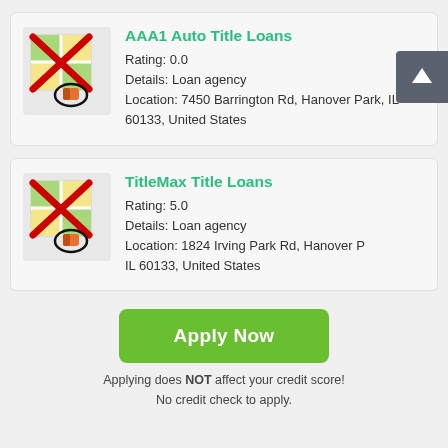[Figure (other): Listing card for AAA1 Auto Title Loans with a crossed-out map icon, rating 0.0, details Loan agency, location 7450 Barrington Rd, Hanover Park, IL 60133, United States]
[Figure (other): Listing card for TitleMax Title Loans with a crossed-out map icon, rating 5.0, details Loan agency, location 1824 Irving Park Rd, Hanover Park, IL 60133, United States]
Apply Now
Applying does NOT affect your credit score! No credit check to apply.